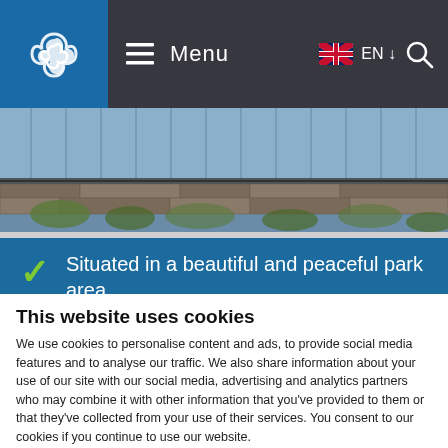Menu | EN | Search
[Figure (photo): Outdoor photo showing a building with blue metal cladding behind a stone wall with vegetation]
Situated in a beautiful and peaceful park area
Hotel beach area with privileged access for hotel guests
This website uses cookies
We use cookies to personalise content and ads, to provide social media features and to analyse our traffic. We also share information about your use of our site with our social media, advertising and analytics partners who may combine it with other information that you've provided to them or that they've collected from your use of their services. You consent to our cookies if you continue to use our website.
Necessary  Statistics  Show details  OK